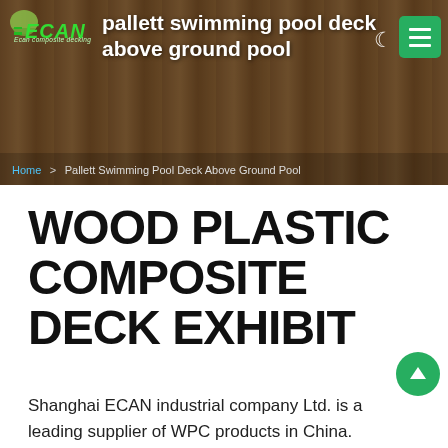pallett swimming pool deck above ground pool
[Figure (screenshot): ECAN composite decking company logo with green text and icon on wood-textured banner background]
Home > Pallett Swimming Pool Deck Above Ground Pool
WOOD PLASTIC COMPOSITE DECK EXHIBIT
Shanghai ECAN industrial company Ltd. is a leading supplier of WPC products in China. Founded in 2008, ECAN had established a complete supply chain system integrating R&D, production, sales and after-sales services based on the advantages of our raw materials